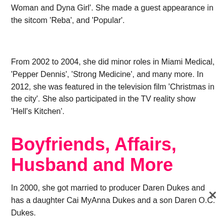Woman and Dyna Girl'. She made a guest appearance in the sitcom 'Reba', and 'Popular'.
From 2002 to 2004, she did minor roles in Miami Medical, 'Pepper Dennis', 'Strong Medicine', and many more. In 2012, she was featured in the television film 'Christmas in the city'. She also participated in the TV reality show 'Hell's Kitchen'.
Boyfriends, Affairs, Husband and More
In 2000, she got married to producer Daren Dukes and has a daughter Cai MyAnna Dukes and a son Daren O.C. Dukes.